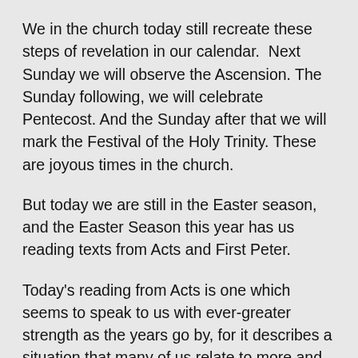We in the church today still recreate these steps of revelation in our calendar.  Next Sunday we will observe the Ascension. The Sunday following, we will celebrate Pentecost. And the Sunday after that we will mark the Festival of the Holy Trinity. These are joyous times in the church.
But today we are still in the Easter season, and the Easter Season this year has us reading texts from Acts and First Peter.
Today's reading from Acts is one which seems to speak to us with ever-greater strength as the years go by, for it describes a situation that many of us relate to more and more. In this reading, Paul enters the great city of Athens. Athens was one of the top cultural and intellectual centers of the world. Athens